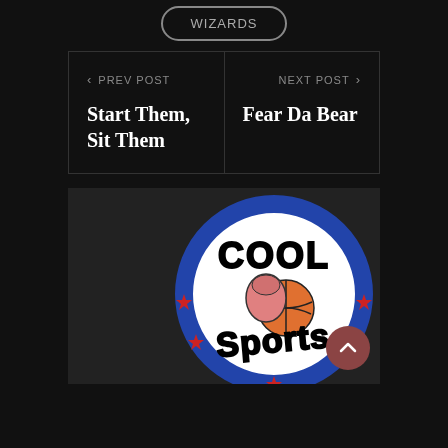WIZARDS
< PREV POST
Start Them, Sit Them
NEXT POST >
Fear Da Bear
[Figure (logo): Cool Sports logo - circular badge with blue border, red stars, and bold black text reading COOL and Sports with a basketball/boxing glove illustration in center]